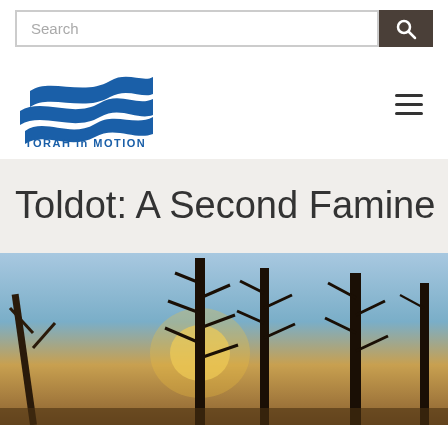[Figure (screenshot): Search bar with text input field and dark search button with magnifying glass icon]
[Figure (logo): Torah in Motion logo with blue wave/flame design above text TORAH in MOTION in blue capital letters]
Toldot: A Second Famine
[Figure (photo): Photograph of tall pine trees silhouetted against a sunset sky with warm orange and blue tones]